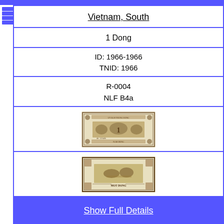Vietnam, South
1 Dong
ID: 1966-1966
TNID: 1966
R-0004
NLF B4a
[Figure (photo): Front face of South Vietnam 1 Dong banknote (NLF B4a, 1966), brown/olive color with decorative border and central motif]
[Figure (photo): Back face of South Vietnam 1 Dong banknote (NLF B4a, 1966), showing MOT DONG text with decorative border]
Show Full Details